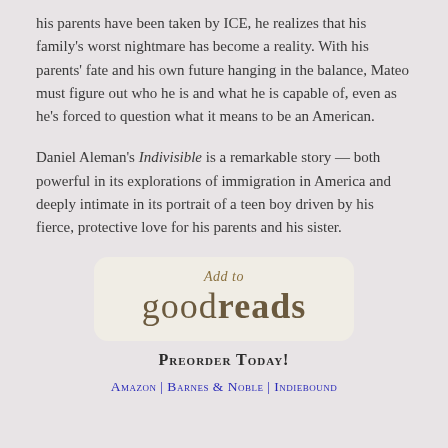his parents have been taken by ICE, he realizes that his family's worst nightmare has become a reality. With his parents' fate and his own future hanging in the balance, Mateo must figure out who he is and what he is capable of, even as he's forced to question what it means to be an American.
Daniel Aleman's Indivisible is a remarkable story — both powerful in its explorations of immigration in America and deeply intimate in its portrait of a teen boy driven by his fierce, protective love for his parents and his sister.
[Figure (logo): Add to Goodreads button — rounded rectangle with 'Add to' in italic script and 'goodreads' in large serif text]
Preorder Today!
Amazon | Barnes & Noble | Indiebound